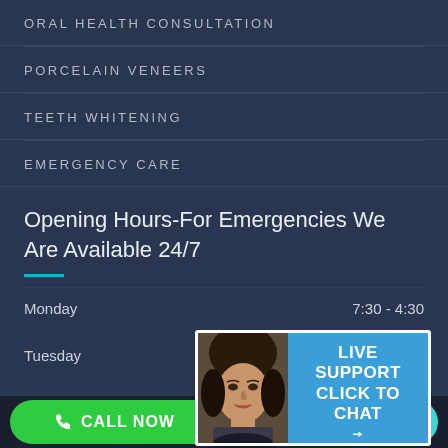ORAL HEALTH CONSULTATION
PORCELAIN VENEERS
TEETH WHITENING
EMERGENCY CARE
Opening Hours-For Emergencies We Are Available 24/7
Monday    7:30 - 4:30
Tuesday    :30 - 5:30
[Figure (screenshot): Live support chat overlay with a woman's face photo on the left and 'LIVE SUPPORT CLICK TO CHAT' text on blue background on the right]
CALL NOW    DIRECTIONS